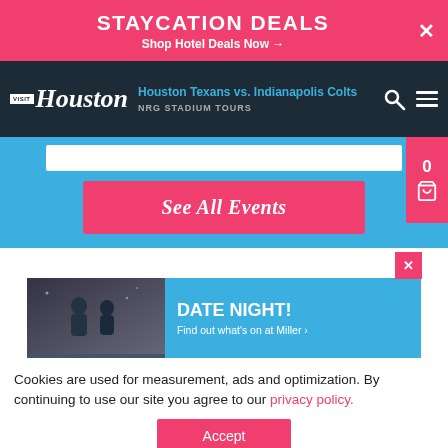STAYCATION DEALS
Shop Hotel Deals Now →
[Figure (screenshot): Visit Houston website navigation bar showing event title 'Houston Texans vs. Indianapolis Colts' and 'NRG STADIUM TOURS' with search and menu icons]
[Figure (screenshot): Blue section with search bar, 'See All Events' pink button, and pink cart badge showing 0]
[Figure (screenshot): Date Night promotional banner with couple photo and text 'DATE NIGHT! Find out what's on at Miller ›' with a pink close button]
Cookies are used for measurement, ads and optimization. By continuing to use our site you agree to our privacy policy.
Accept